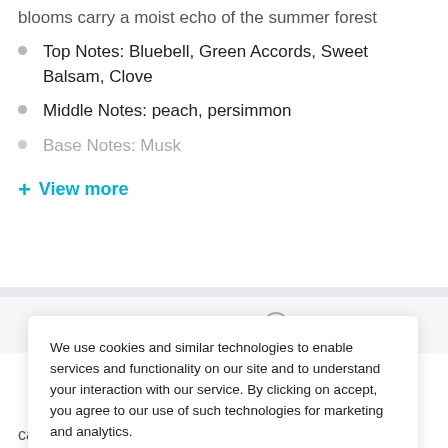blooms carry a moist echo of the summer forest
Top Notes: Bluebell, Green Accords, Sweet Balsam, Clove
Middle Notes: peach, persimmon
Base Notes: Musk
+ View more
We use cookies and similar technologies to enable services and functionality on our site and to understand your interaction with our service. By clicking on accept, you agree to our use of such technologies for marketing and analytics.
Accept
card information